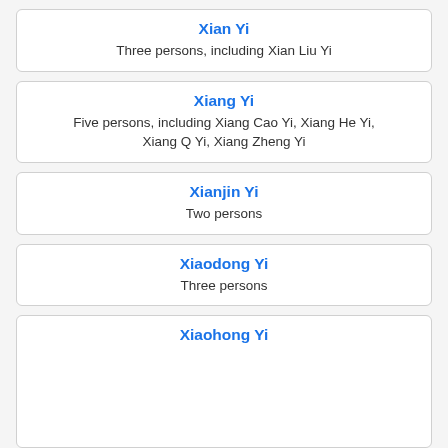Xian Yi
Three persons, including Xian Liu Yi
Xiang Yi
Five persons, including Xiang Cao Yi, Xiang He Yi, Xiang Q Yi, Xiang Zheng Yi
Xianjin Yi
Two persons
Xiaodong Yi
Three persons
Xiaohong Yi